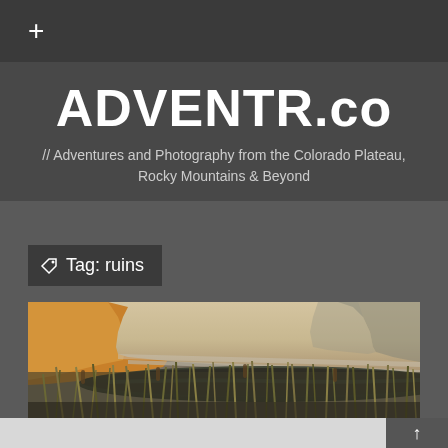+
ADVENTR.co
// Adventures and Photography from the Colorado Plateau, Rocky Mountains & Beyond
Tag: ruins
[Figure (photo): Photograph of a sandstone canyon wall with a dark pool of water in the foreground and tall grass and reeds growing along the water's edge]
↑